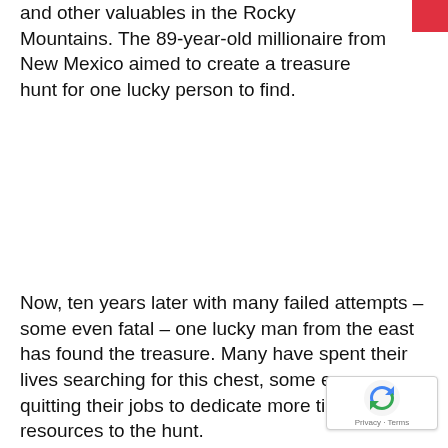and other valuables in the Rocky Mountains. The 89-year-old millionaire from New Mexico aimed to create a treasure hunt for one lucky person to find.
Now, ten years later with many failed attempts – some even fatal – one lucky man from the east has found the treasure. Many have spent their lives searching for this chest, some even quitting their jobs to dedicate more time and resources to the hunt.